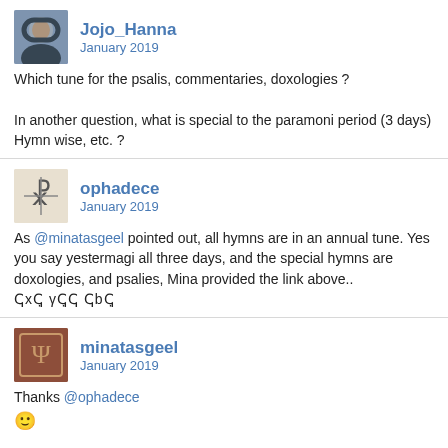[Figure (photo): Avatar of Jojo_Hanna, a person in dark clothing]
Jojo_Hanna
January 2019
Which tune for the psalis, commentaries, doxologies ?

In another question, what is special to the paramoni period (3 days) Hymn wise, etc. ?
[Figure (illustration): Avatar of ophadece, stylized Coptic/cross symbol]
ophadece
January 2019
As @minatasgeel pointed out, all hymns are in an annual tune. Yes you say yestermagi all three days, and the special hymns are doxologies, and psalies, Mina provided the link above..
ↅxↅ̣ γƅ̣ƅ ƅbƅ̣
[Figure (illustration): Avatar of minatasgeel, ornate musical instrument or Coptic symbol on reddish-brown background]
minatasgeel
January 2019
Thanks @ophadece
:)

there isn't really any tunes that are "special" other than Eistermagi and its madeeha.